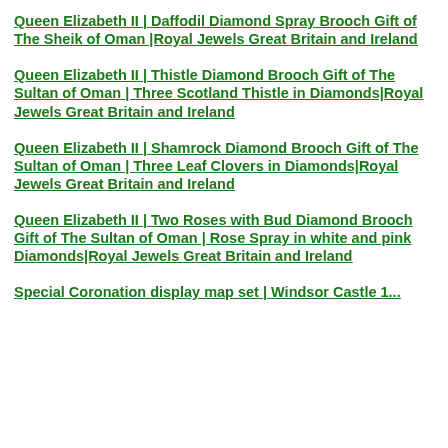Queen Elizabeth II | Daffodil Diamond Spray Brooch Gift of The Sheik of Oman |Royal Jewels Great Britain and Ireland
Queen Elizabeth II | Thistle Diamond Brooch Gift of The Sultan of Oman | Three Scotland Thistle in Diamonds|Royal Jewels Great Britain and Ireland
Queen Elizabeth II | Shamrock Diamond Brooch Gift of The Sultan of Oman | Three Leaf Clovers in Diamonds|Royal Jewels Great Britain and Ireland
Queen Elizabeth II | Two Roses with Bud Diamond Brooch Gift of The Sultan of Oman | Rose Spray in white and pink Diamonds|Royal Jewels Great Britain and Ireland
Special Coronation display map set | Windsor Castle 1...